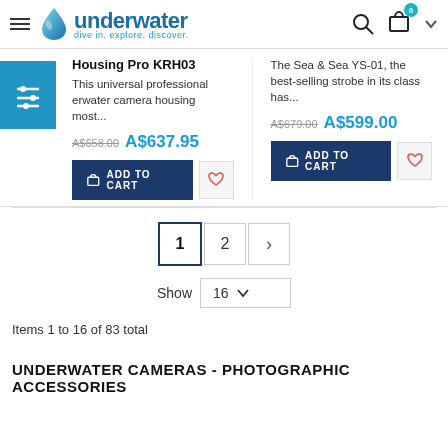[Figure (logo): Underwater brand logo with blue droplet icon and text 'underwater - dive in. explore. discover.']
Housing Pro KRH03
This universal professional erwater camera housing most...
AS658.00 A$637.95
ADD TO CART
The Sea & Sea YS-01, the best-selling strobe in its class has...
AS679.00 A$599.00
ADD TO CART
1 2 >
Show 16
Items 1 to 16 of 83 total
UNDERWATER CAMERAS - PHOTOGRAPHIC ACCESSORIES